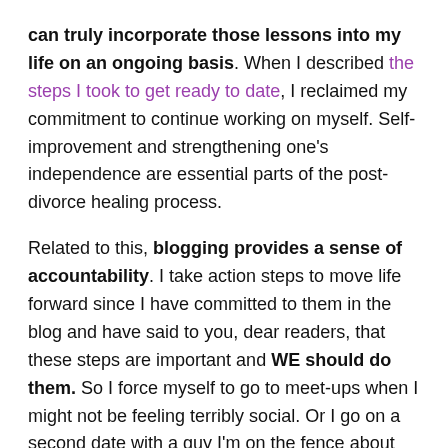can truly incorporate those lessons into my life on an ongoing basis. When I described the steps I took to get ready to date, I reclaimed my commitment to continue working on myself. Self- improvement and strengthening one's independence are essential parts of the post-divorce healing process.
Related to this, blogging provides a sense of accountability. I take action steps to move life forward since I have committed to them in the blog and have said to you, dear readers, that these steps are important and WE should do them. So I force myself to go to meet-ups when I might not be feeling terribly social. Or I go on a second date with a guy I'm on the fence about not only to see if he's One of the Ones but also to have the experience, learn from it, and share it with you.